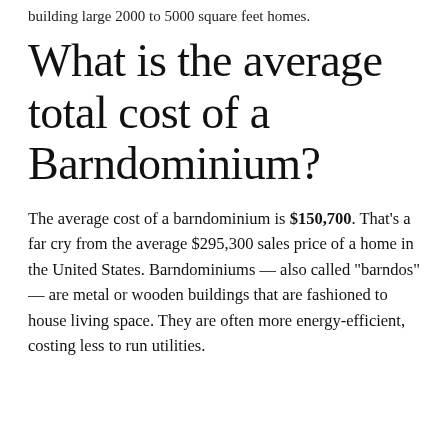building large 2000 to 5000 square feet homes.
What is the average total cost of a Barndominium?
The average cost of a barndominium is $150,700. That's a far cry from the average $295,300 sales price of a home in the United States. Barndominiums — also called “barndos” — are metal or wooden buildings that are fashioned to house living space. They are often more energy-efficient, costing less to run utilities.